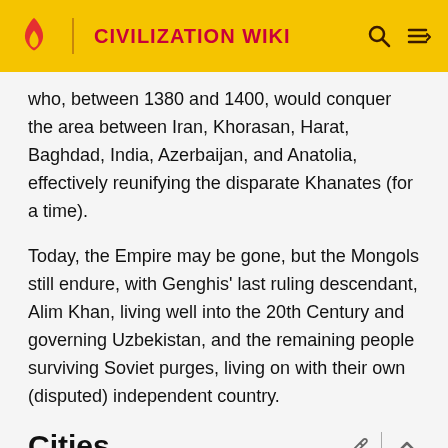CIVILIZATION WIKI
who, between 1380 and 1400, would conquer the area between Iran, Khorasan, Harat, Baghdad, India, Azerbaijan, and Anatolia, effectively reunifying the disparate Khanates (for a time).
Today, the Empire may be gone, but the Mongols still endure, with Genghis' last ruling descendant, Alim Khan, living well into the 20th Century and governing Uzbekistan, and the remaining people surviving Soviet purges, living on with their own (disputed) independent country.
Cities
Main article: Mongolian cities (Civ6)